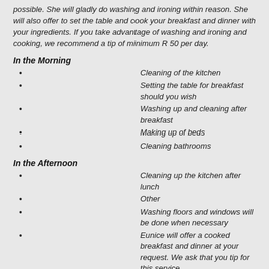possible. She will gladly do washing and ironing within reason. She will also offer to set the table and cook your breakfast and dinner with your ingredients. If you take advantage of washing and ironing and cooking, we recommend a tip of minimum R 50 per day.
In the Morning
Cleaning of the kitchen
Setting the table for breakfast should you wish
Washing up and cleaning after breakfast
Making up of beds
Cleaning bathrooms
In the Afternoon
Cleaning up the kitchen after lunch
Other
Washing floors and windows will be done when necessary
Eunice will offer a cooked breakfast and dinner at your request. We ask that you tip for this service.